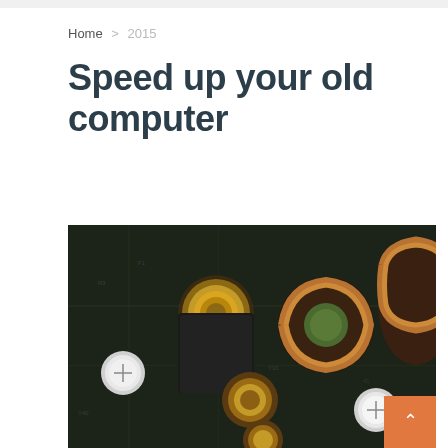Home > 2015
Speed up your old computer
[Figure (photo): Close-up photograph of a computer motherboard showing capacitors, inductors/coils, and other electronic components on a green PCB with black background]